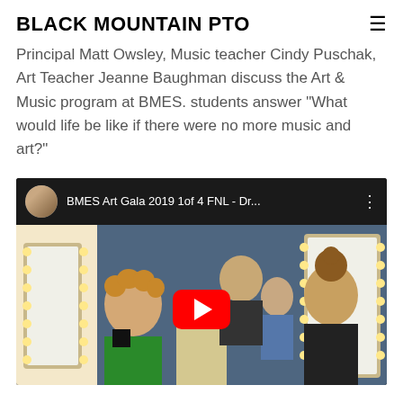BLACK MOUNTAIN PTO
Principal Matt Owsley, Music teacher Cindy Puschak, Art Teacher Jeanne Baughman discuss the Art & Music program at BMES. students answer "What would life be like if there were no more music and art?"
[Figure (screenshot): YouTube video embed showing BMES Art Gala 2019 1of 4 FNL - Dr... with thumbnail of children backstage near dressing room mirrors with lights, YouTube play button overlay]